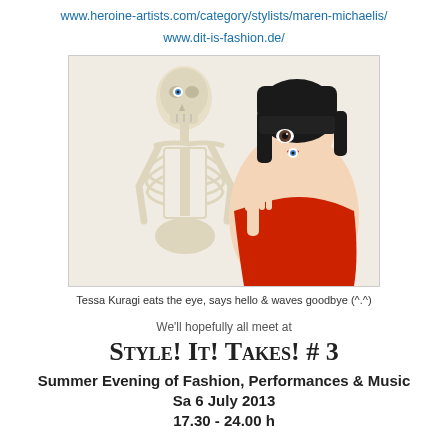www.heroine-artists.com/category/stylists/maren-michaelis/
www.dit-is-fashion.de/
[Figure (photo): A woman with a black bob haircut wearing a red strapless dress holds up one hand. She has a novelty eyeball in her mouth. Next to her is a human anatomy skeleton model, also appearing to have an eyeball. The background is white/light grey.]
Tessa Kuragi eats the eye, says hello & waves goodbye (^.^)
We'll hopefully all meet at
Style! It! Takes! # 3
Summer Evening of Fashion, Performances & Music
Sa 6 July 2013
17.30 - 24.00 h